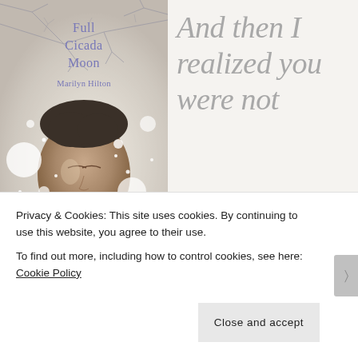[Figure (photo): Book cover of 'Full Cicada Moon' by Marilyn Hilton showing a young person with eyes closed in snow, with title and author text in purple]
And then I realized you were not rebellious
Privacy & Cookies: This site uses cookies. By continuing to use this website, you agree to their use.
To find out more, including how to control cookies, see here: Cookie Policy
Close and accept